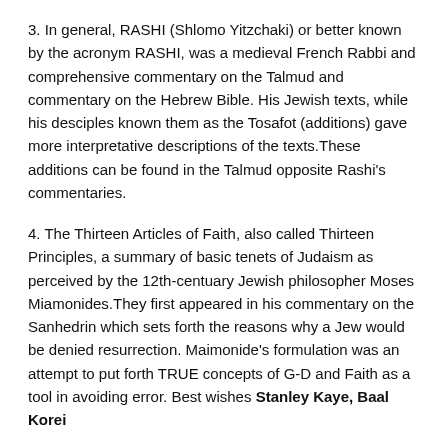3. In general, RASHI (Shlomo Yitzchaki) or better known by the acronym RASHI, was a medieval French Rabbi and comprehensive commentary on the Talmud and commentary on the Hebrew Bible. His Jewish texts, while his desciples known them as the Tosafot (additions) gave more interpretative descriptions of the texts.These additions can be found in the Talmud opposite Rashi's commentaries.
4. The Thirteen Articles of Faith, also called Thirteen Principles, a summary of basic tenets of Judaism as perceived by the 12th-centuary Jewish philosopher Moses Miamonides.They first appeared in his commentary on the Sanhedrin which sets forth the reasons why a Jew would be denied resurrection. Maimonide's formulation was an attempt to put forth TRUE concepts of G-D and Faith as a tool in avoiding error. Best wishes Stanley Kaye, Baal Korei
Subject: Fw: Western Necropolis – Dog Fouling news update